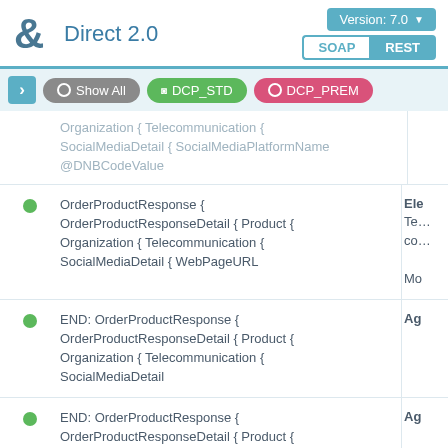Direct 2.0 — Version: 7.0 — SOAP / REST
Show All   DCP_STD   DCP_PREM
OrderProductResponse { OrderProductResponseDetail { Product { Organization { Telecommunication { SocialMediaDetail { SocialMediaPlatformName @DNBCodeValue
OrderProductResponse { OrderProductResponseDetail { Product { Organization { Telecommunication { SocialMediaDetail { WebPageURL
END: OrderProductResponse { OrderProductResponseDetail { Product { Organization { Telecommunication { SocialMediaDetail
END: OrderProductResponse { OrderProductResponseDetail { Product { Organization { Telecommunication